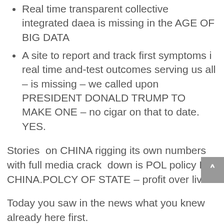Real time transparent collective integrated daea is missing in the AGE OF BIG DATA
A site to report and track first symptoms i real time and-test outcomes serving us all – is missing – we called upon PRESIDENT DONALD TRUMP TO MAKE ONE – no cigar on that to date. YES.
Stories  on CHINA rigging its own numbers with full media crack  down is POL policy IN CHINA.POLCY OF STATE – profit over lives.
Today you saw in the news what you knew already here first.
RIGHT AGAIN
Bern Dohrmann speaking live In San Diego